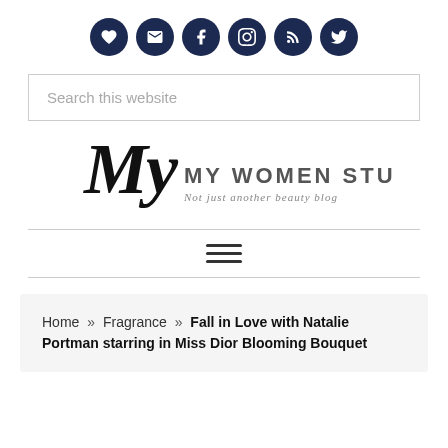[Figure (other): Row of six dark navy circular social media icons: heart, envelope/email, Facebook, Instagram, RSS, Twitter]
[Figure (other): Search input box with placeholder text 'Search this website']
[Figure (logo): My Women Stuff blog logo with decorative script 'My' initials and subtitle 'Not just another beauty blog']
[Figure (other): Horizontal rule divider]
[Figure (other): Hamburger menu icon (three horizontal lines)]
[Figure (other): Horizontal rule divider]
Home » Fragrance » Fall in Love with Natalie Portman starring in Miss Dior Blooming Bouquet